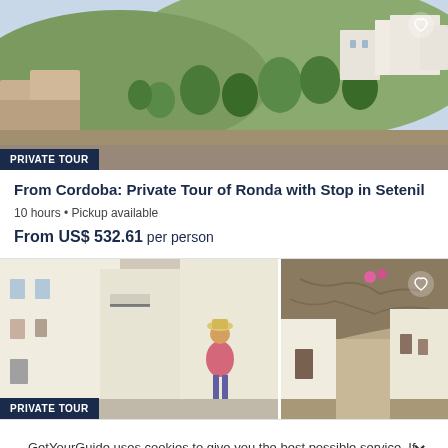[Figure (photo): Aerial view of Ronda/Setenil landscape with white buildings, green trees, rocky cliffs]
From Cordoba: Private Tour of Ronda with Stop in Setenil
10 hours · Pickup available
From US$ 532.61 per person
[Figure (photo): Two photos: tourist in pink shirt in white village street, and narrow street under rock overhang in Setenil]
GetYourGuide uses cookies to give you the best possible service. If you continue browsing, you agree to the use of cookies. More details can be found in our privacy policy.